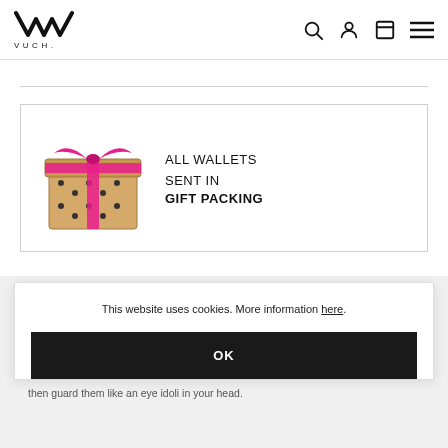VUCH. navigation bar with search, account, cart, and menu icons
[Figure (illustration): Gift box wrapped with ribbon and bow, brown kraft paper with decorative flower print]
ALL WALLETS SENT IN GIFT PACKING
Polka dots wallets
Playful, adventurous and unconventional. Those are the main features of our polka dots collection. It can com. We bla... attention... wall- then guard them like an eye idoli in your head.
This website uses cookies. More information here.
OK